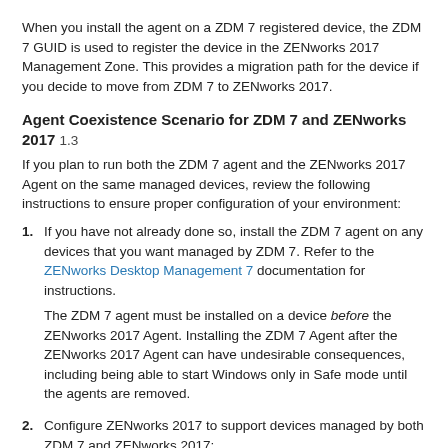When you install the agent on a ZDM 7 registered device, the ZDM 7 GUID is used to register the device in the ZENworks 2017 Management Zone. This provides a migration path for the device if you decide to move from ZDM 7 to ZENworks 2017.
Agent Coexistence Scenario for ZDM 7 and ZENworks 2017 1.3
If you plan to run both the ZDM 7 agent and the ZENworks 2017 Agent on the same managed devices, review the following instructions to ensure proper configuration of your environment:
1. If you have not already done so, install the ZDM 7 agent on any devices that you want managed by ZDM 7. Refer to the ZENworks Desktop Management 7 documentation for instructions.
The ZDM 7 agent must be installed on a device before the ZENworks 2017 Agent. Installing the ZDM 7 Agent after the ZENworks 2017 Agent can have undesirable consequences, including being able to start Windows only in Safe mode until the agents are removed.
2. Configure ZENworks 2017 to support devices managed by both ZDM 7 and ZENworks 2017:
a. In ZENworks Control Center, click Configuration.
b. In the Management Zone Settings panel, click Device Management, then click ZENworks Agent.
c. In the Agent Features panel, select the Installed and Enabled